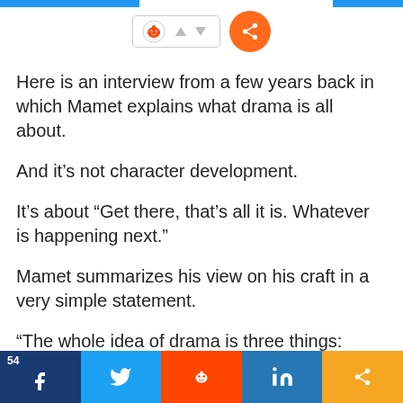[Figure (screenshot): Social sharing widget with Reddit icon, up/down arrows in a bordered box, and an orange circular share button]
Here is an interview from a few years back in which Mamet explains what drama is all about.
And it’s not character development.
It’s about “Get there, that’s all it is. Whatever is happening next.”
Mamet summarizes his view on his craft in a very simple statement.
“The whole idea of drama is three things:
[Figure (screenshot): Social media share bar at bottom: dark blue Facebook (54), light blue Twitter, orange Reddit, blue LinkedIn, gold share button]